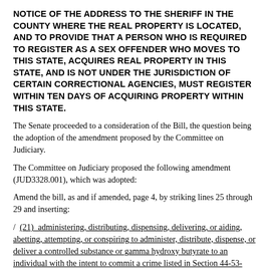NOTICE OF THE ADDRESS TO THE SHERIFF IN THE COUNTY WHERE THE REAL PROPERTY IS LOCATED, AND TO PROVIDE THAT A PERSON WHO IS REQUIRED TO REGISTER AS A SEX OFFENDER WHO MOVES TO THIS STATE, ACQUIRES REAL PROPERTY IN THIS STATE, AND IS NOT UNDER THE JURISDICTION OF CERTAIN CORRECTIONAL AGENCIES, MUST REGISTER WITHIN TEN DAYS OF ACQUIRING PROPERTY WITHIN THIS STATE.
The Senate proceeded to a consideration of the Bill, the question being the adoption of the amendment proposed by the Committee on Judiciary.
The Committee on Judiciary proposed the following amendment (JUD3328.001), which was adopted:
Amend the bill, as and if amended, page 4, by striking lines 25 through 29 and inserting:
/ (21) administering, distributing, dispensing, delivering, or aiding, abetting, attempting, or conspiring to administer, distribute, dispense, or deliver a controlled substance or gamma hydroxy butyrate to an individual with the intent to commit a crime listed in Section 44-53-370(f), except petit larceny or grand larceny. /